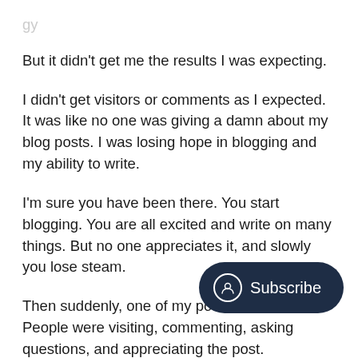But it didn't get me the results I was expecting.
I didn't get visitors or comments as I expected. It was like no one was giving a damn about my blog posts. I was losing hope in blogging and my ability to write.
I'm sure you have been there. You start blogging. You are all excited and write on many things. But no one appreciates it, and slowly you lose steam.
Then suddenly, one of my posts worked. People were visiting, commenting, asking questions, and appreciating the post.
I wasn't sure what made it work, follow the same approach and see if I could reproduce the results.